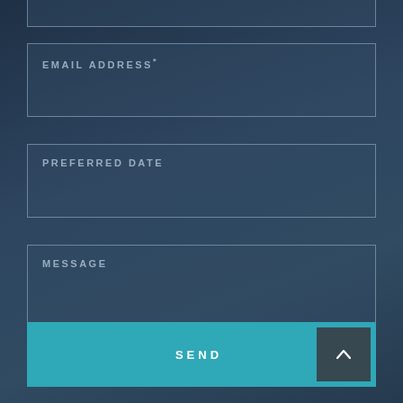[Figure (screenshot): Partial top form field visible at top of page, cut off]
EMAIL ADDRESS*
PREFERRED DATE
MESSAGE
SEND